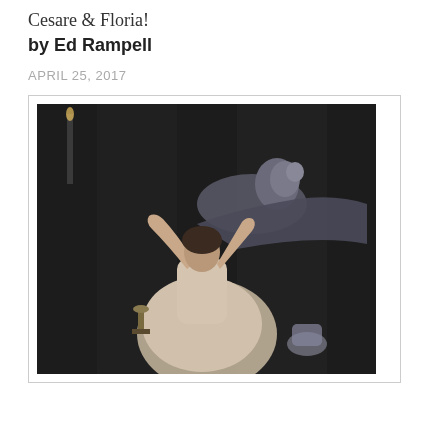Cesare & Floria!
by Ed Rampell
APRIL 25, 2017
[Figure (photo): An opera stage scene showing a woman in a light-colored formal gown with arms raised expressively, and a reclining figure behind her against a dark stone-like backdrop. A small goblet sits on a table in the lower left.]